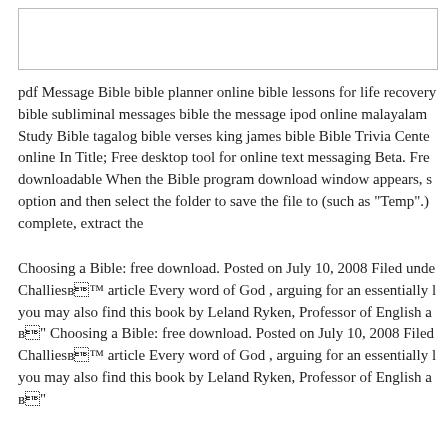pdf Message Bible bible planner online bible lessons for life recovery bible subliminal messages bible the message ipod online malayalam Study Bible tagalog bible verses king james bible Bible Trivia Center online In Title; Free desktop tool for online text messaging Beta. Free downloadable When the Bible program download window appears, s option and then select the folder to save the file to (such as "Temp".) complete, extract the
Choosing a Bible: free download. Posted on July 10, 2008 Filed under Challiesв™ article Every word of God , arguing for an essentially l you may also find this book by Leland Ryken, Professor of English a в" Choosing a Bible: free download. Posted on July 10, 2008 Filed Challiesв™ article Every word of God , arguing for an essentially l you may also find this book by Leland Ryken, Professor of English a в"